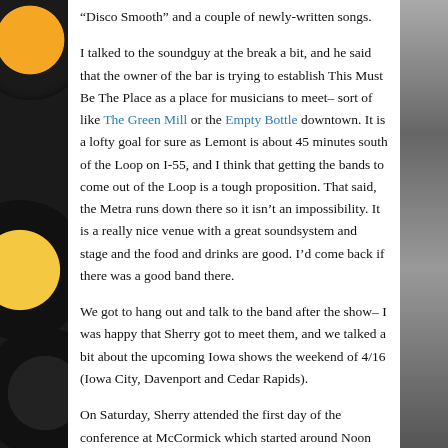“Disco Smooth” and a couple of newly-written songs.
I talked to the soundguy at the break a bit, and he said that the owner of the bar is trying to establish This Must Be The Place as a place for musicians to meet– sort of like The Green Mill or the Empty Bottle downtown. It is a lofty goal for sure as Lemont is about 45 minutes south of the Loop on I-55, and I think that getting the bands to come out of the Loop is a tough proposition. That said, the Metra runs down there so it isn’t an impossibility. It is a really nice venue with a great soundsystem and stage and the food and drinks are good. I’d come back if there was a good band there.
We got to hang out and talk to the band after the show– I was happy that Sherry got to meet them, and we talked a bit about the upcoming Iowa shows the weekend of 4/16 (Iowa City, Davenport and Cedar Rapids).
On Saturday, Sherry attended the first day of the conference at McCormick which started around Noon and